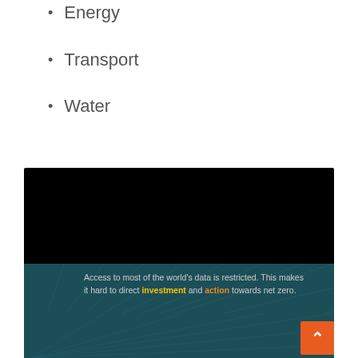Energy
Transport
Water
[Figure (screenshot): Dark black video panel area above a teal/dark green background panel with text about data access and net-zero. Orange back-to-top button in bottom right. Text reads: 'Access to most of the world’s data is restricted. This makes it hard to direct investment and action towards net zero. We are creating a web of net-zero data']
Access to most of the world’s data is restricted. This makes it hard to direct investment and action towards net zero.
We are creating a web of net-zero data